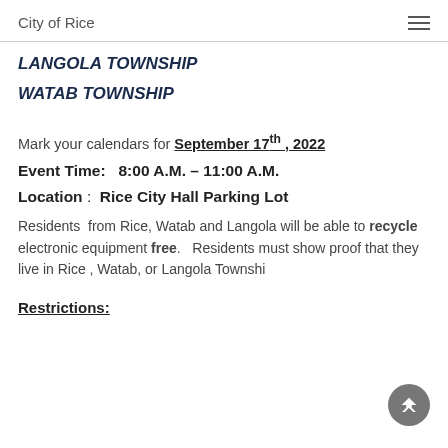City of Rice
LANGOLA TOWNSHIP
WATAB TOWNSHIP
Mark your calendars for September 17th , 2022
Event Time:   8:00 A.M. – 11:00 A.M.
Location :  Rice City Hall Parking Lot
Residents  from Rice, Watab and Langola will be able to recycle electronic equipment free.   Residents must show proof that they live in Rice , Watab, or Langola Townshi
Restrictions: